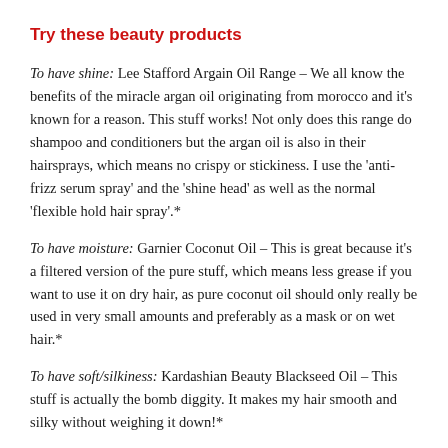Try these beauty products
To have shine: Lee Stafford Argain Oil Range – We all know the benefits of the miracle argan oil originating from morocco and it's known for a reason. This stuff works! Not only does this range do shampoo and conditioners but the argan oil is also in their hairsprays, which means no crispy or stickiness. I use the 'anti-frizz serum spray' and the 'shine head' as well as the normal 'flexible hold hair spray'.*
To have moisture: Garnier Coconut Oil – This is great because it's a filtered version of the pure stuff, which means less grease if you want to use it on dry hair, as pure coconut oil should only really be used in very small amounts and preferably as a mask or on wet hair.*
To have soft/silkiness: Kardashian Beauty Blackseed Oil – This stuff is actually the bomb diggity. It makes my hair smooth and silky without weighing it down!*